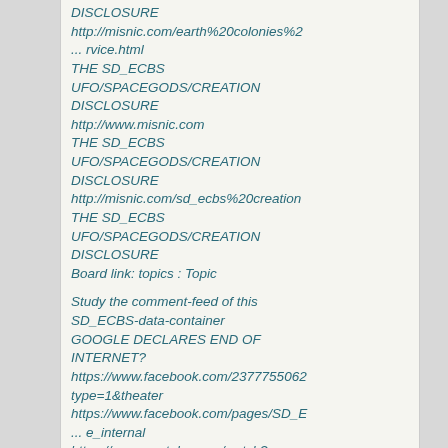DISCLOSURE
http://misnic.com/earth%20colonies%2... rvice.html
THE SD_ECBS UFO/SPACEGODS/CREATION DISCLOSURE
http://www.misnic.com
THE SD_ECBS UFO/SPACEGODS/CREATION DISCLOSURE
http://misnic.com/sd_ecbs%20creation
THE SD_ECBS UFO/SPACEGODS/CREATION DISCLOSURE
Board link: topics : Topic
Study the comment-feed of this SD_ECBS-data-container
GOOGLE DECLARES END OF INTERNET?
https://www.facebook.com/2377755062type=1&theater
https://www.facebook.com/pages/SD_E... e_internal
https://www.youtube.com/watch?v=jzkLx6tqgOQ&sns=fb
https://www.youtube.com/watch?v=Id-7dkELzGM
DR GREER 2 Billion USD offered to shut up!.....
https://www.youtube.com/watch?